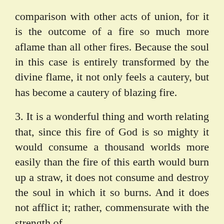comparison with other acts of union, for it is the outcome of a fire so much more aflame than all other fires. Because the soul in this case is entirely transformed by the divine flame, it not only feels a cautery, but has become a cautery of blazing fire.
3. It is a wonderful thing and worth relating that, since this fire of God is so mighty it would consume a thousand worlds more easily than the fire of this earth would burn up a straw, it does not consume and destroy the soul in which it so burns. And it does not afflict it; rather, commensurate with the strength of the love it divinizes and delights it,